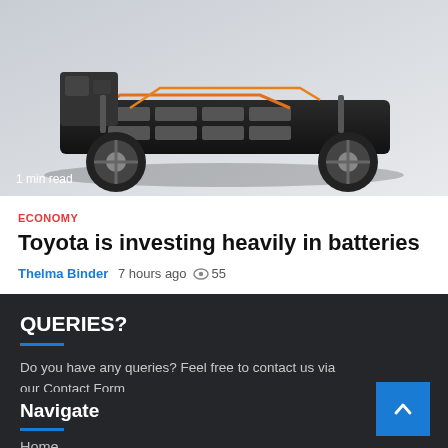[Figure (photo): Car chassis/EV platform cutaway showing battery pack, engine, wheels and orange wiring on a light grey background]
1 min read
ECONOMY
Toyota is investing heavily in batteries
Thelma Binder  7 hours ago  55
QUERIES?
Do you have any queries? Feel free to contact us via our Contact Form
Navigate
Home